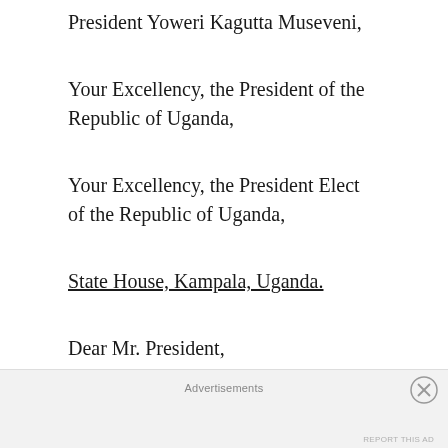President Yoweri Kagutta Museveni,
Your Excellency, the President of the Republic of Uganda,
Your Excellency, the President Elect of the Republic of Uganda,
State House, Kampala, Uganda.
Dear Mr. President,
I know you are a busy man, so I will come
Advertisements